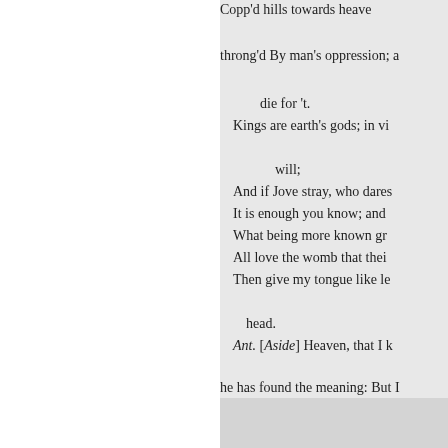Copp'd hills towards heaven:
throng'd By man's oppression; a
die for 't.
Kings are earth's gods; in vi
will;
And if Jove stray, who dares
It is enough you know; and
What being more known gr
All love the womb that thei
Then give my tongue like le
head.
Ant. [Aside] Heaven, that I k
he has found the meaning: But I
our strict edict, Your exposition n
succeeding from so fair a tree
96. vice repeated, the dis- 11
him with words. 101. Copp'd, p